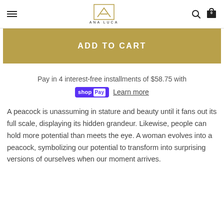ANA LUCA
ADD TO CART
Pay in 4 interest-free installments of $58.75 with shopPay Learn more
A peacock is unassuming in stature and beauty until it fans out its full scale, displaying its hidden grandeur. Likewise, people can hold more potential than meets the eye. A woman evolves into a peacock, symbolizing our potential to transform into surprising versions of ourselves when our moment arrives.